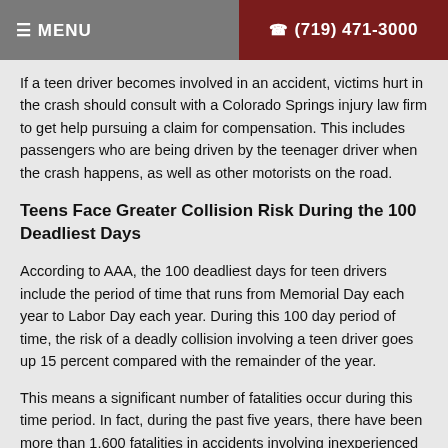≡ MENU  ☎ (719) 471-3000
If a teen driver becomes involved in an accident, victims hurt in the crash should consult with a Colorado Springs injury law firm to get help pursuing a claim for compensation. This includes passengers who are being driven by the teenager driver when the crash happens, as well as other motorists on the road.
Teens Face Greater Collision Risk During the 100 Deadliest Days
According to AAA, the 100 deadliest days for teen drivers include the period of time that runs from Memorial Day each year to Labor Day each year. During this 100 day period of time, the risk of a deadly collision involving a teen driver goes up 15 percent compared with the remainder of the year.
This means a significant number of fatalities occur during this time period. In fact, during the past five years, there have been more than 1,600 fatalities in accidents involving inexperienced teen drivers during the 100 deadliest days of summer.
AAA Foundation has identified a number of primary reasons why